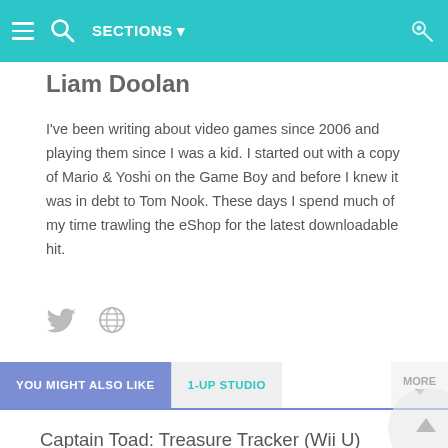SECTIONS
Liam Doolan
I've been writing about video games since 2006 and playing them since I was a kid. I started out with a copy of Mario & Yoshi on the Game Boy and before I knew it was in debt to Tom Nook. These days I spend much of my time trawling the eShop for the latest downloadable hit.
YOU MIGHT ALSO LIKE
1-UP STUDIO
Captain Toad: Treasure Tracker (Wii U) Review
Fantasy Life (3DS) Review